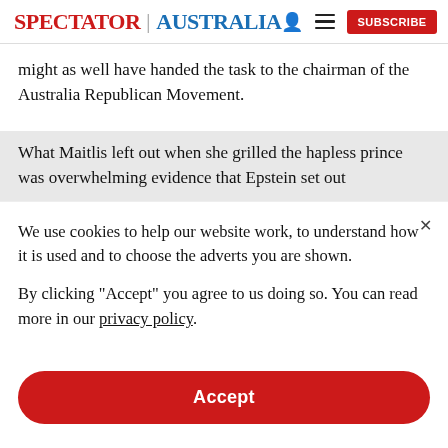SPECTATOR | AUSTRALIA
might as well have handed the task to the chairman of the Australia Republican Movement.
What Maitlis left out when she grilled the hapless prince was overwhelming evidence that Epstein set out
We use cookies to help our website work, to understand how it is used and to choose the adverts you are shown.
By clicking "Accept" you agree to us doing so. You can read more in our privacy policy.